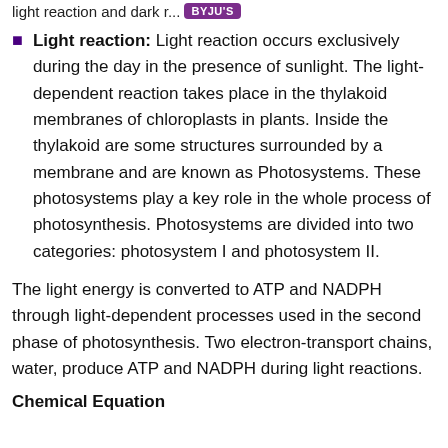light reaction and dark r... BYJU'S
Light reaction: Light reaction occurs exclusively during the day in the presence of sunlight. The light-dependent reaction takes place in the thylakoid membranes of chloroplasts in plants. Inside the thylakoid are some structures surrounded by a membrane and are known as Photosystems. These photosystems play a key role in the whole process of photosynthesis. Photosystems are divided into two categories: photosystem I and photosystem II.
The light energy is converted to ATP and NADPH through light-dependent processes used in the second phase of photosynthesis. Two electron-transport chains, water, produce ATP and NADPH during light reactions.
Chemical Equation